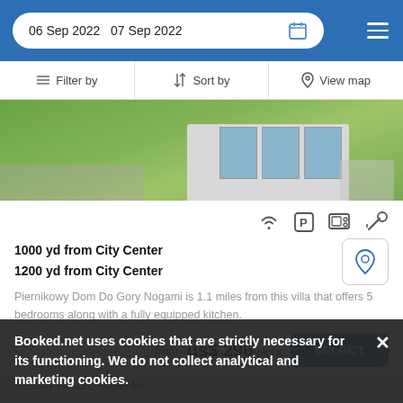06 Sep 2022  07 Sep 2022
Filter by  Sort by  View map
[Figure (photo): Exterior photo of a white villa with green lawn and stone path]
1000 yd from City Center
1200 yd from City Center
Piernikowy Dom Do Gory Nogami is 1.1 miles from this villa that offers 5 bedrooms along with a fully equipped kitchen.
from us$ 296/night
SELECT
Booked.net uses cookies that are strictly necessary for its functioning. We do not collect analytical and marketing cookies.
Holiday Resort, Mielenko